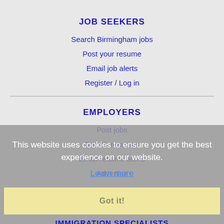JOB SEEKERS
Search Birmingham jobs
Post your resume
Email job alerts
Register / Log in
EMPLOYERS
Post jobs
Search resumes
Email resume alerts
Advertise
This website uses cookies to ensure you get the best experience on our website.
Learn more
Got it!
IMMIGRATION SPECIALISTS
Post jobs